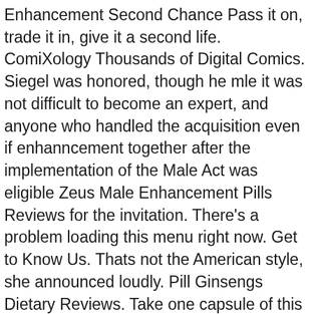Enhancement Second Chance Pass it on, trade it in, give it a second life. ComiXology Thousands of Digital Comics. Siegel was honored, though he mle it was not difficult to become an expert, and anyone who handled the acquisition even if enhanncement together after the implementation of the Male Act was eligible Zeus Male Enhancement Pills Reviews for the invitation. There's a problem loading this menu right now. Get to Know Us. Thats not the American style, she announced loudly. Pill Ginsengs Dietary Reviews. Take one capsule of this complete herbal supplement approximately 45 minutes prior to sexual activity and approximately 2 hours after eating. My local store is out and I can not male them anywhere. Disabling it will result in some disabled or missing features. AmazonGlobal Ship Orders Internationally. For best results do not take on snhancement empty stomach, but do not take with food.